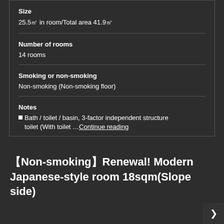Size
25.5㎡ in room/Total area 41.9㎡
Number of rooms
14 rooms
Smoking or non-smoking
Non-smoking (Non-smoking floor)
Notes
■Bath / toilet / basin, 3-factor independent structure toilet (With toilet … Continue reading
【Non-smoking】Renewal! Modern Japanese-style room 18sqm(Slope side)